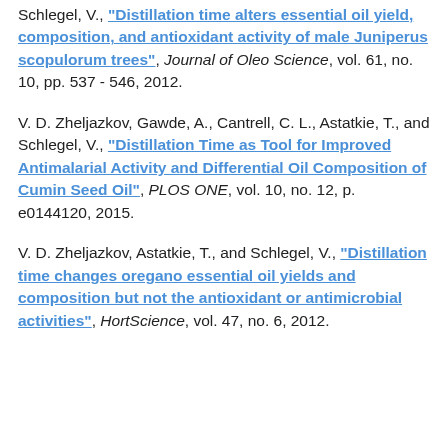Schlegel, V., "Distillation time alters essential oil yield, composition, and antioxidant activity of male Juniperus scopulorum trees", Journal of Oleo Science, vol. 61, no. 10, pp. 537 - 546, 2012.
V. D. Zheljazkov, Gawde, A., Cantrell, C. L., Astatkie, T., and Schlegel, V., "Distillation Time as Tool for Improved Antimalarial Activity and Differential Oil Composition of Cumin Seed Oil", PLOS ONE, vol. 10, no. 12, p. e0144120, 2015.
V. D. Zheljazkov, Astatkie, T., and Schlegel, V., "Distillation time changes oregano essential oil yields and composition but not the antioxidant or antimicrobial activities", HortScience, vol. 47, no. 6, 2012.